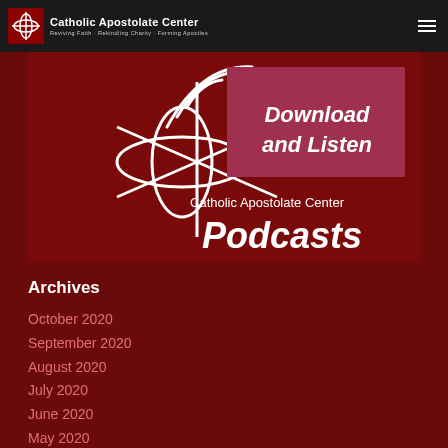Catholic Apostolate Center — Reviving Faith · Rekindling Charity · Forming Apostles
[Figure (illustration): Catholic Apostolate Center Podcasts banner: dark red background with white logo (overlapping oval shapes and cross lines), wi-fi/signal arcs above, text 'Download and Listen' in a lighter red box, 'Catholic Apostolate Center' and bold 'Podcasts' text.]
Archives
October 2020
September 2020
August 2020
July 2020
June 2020
May 2020
April 2020